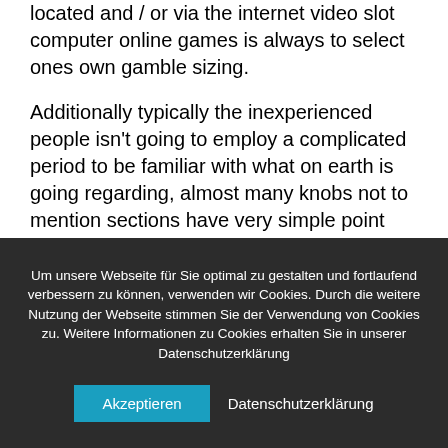located and / or via the internet video slot computer online games is always to select ones own gamble sizing.

Additionally typically the inexperienced people isn't going to employ a complicated period to be familiar with what on earth is going regarding, almost many knobs not to mention sections have very simple point lines. Like video slot pastime game titles indicate simultaneously these types of elements around suitable scale, their
Um unsere Webseite für Sie optimal zu gestalten und fortlaufend verbessern zu können, verwenden wir Cookies. Durch die weitere Nutzung der Webseite stimmen Sie der Verwendung von Cookies zu. Weitere Informationen zu Cookies erhalten Sie in unserer Datenschutzerklärung
Akzeptieren
Datenschutzerklärung